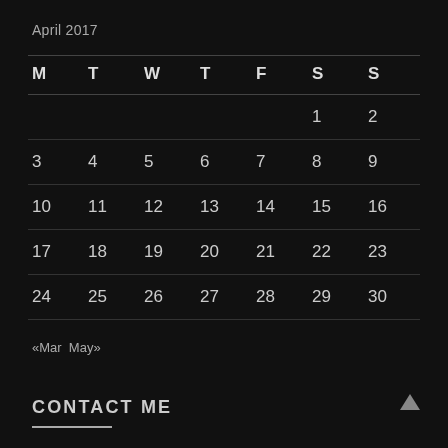April 2017
| M | T | W | T | F | S | S |
| --- | --- | --- | --- | --- | --- | --- |
|  |  |  |  |  | 1 | 2 |
| 3 | 4 | 5 | 6 | 7 | 8 | 9 |
| 10 | 11 | 12 | 13 | 14 | 15 | 16 |
| 17 | 18 | 19 | 20 | 21 | 22 | 23 |
| 24 | 25 | 26 | 27 | 28 | 29 | 30 |
«Mar  May»
CONTACT ME